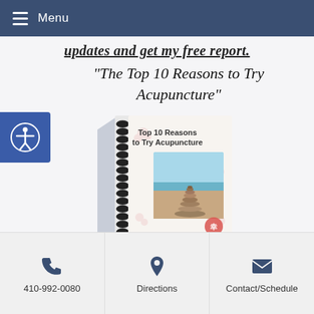Menu
updates and get my free report.
“The Top 10 Reasons to Try Acupuncture”
[Figure (photo): A spiral-bound book titled 'Top 10 Reasons to Try Acupuncture' with a photo of stacked balanced stones on a beach and a red stamp/seal in the bottom right corner.]
Email Address
410-992-0080  Directions  Contact/Schedule